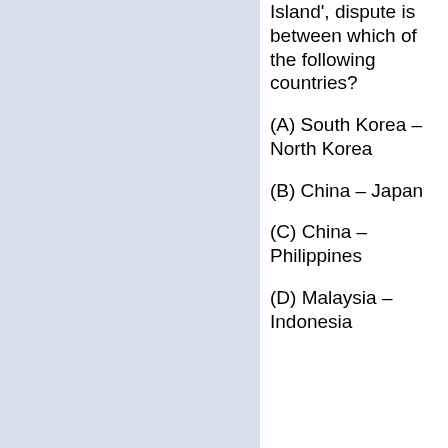Island', dispute is between which of the following countries?
(A) South Korea – North Korea
(B) China – Japan
(C) China – Philippines
(D) Malaysia – Indonesia